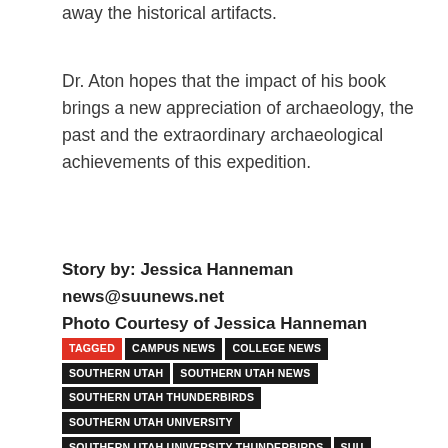…and making way for visitors to take away the historical artifacts.
Dr. Aton hopes that the impact of his book brings a new appreciation of archaeology, the past and the extraordinary archaeological achievements of this expedition.
Story by: Jessica Hanneman
news@suunews.net
Photo Courtesy of Jessica Hanneman
TAGGED  CAMPUS NEWS  COLLEGE NEWS  SOUTHERN UTAH  SOUTHERN UTAH NEWS  SOUTHERN UTAH THUNDERBIRDS  SOUTHERN UTAH UNIVERSITY  SOUTHERN UTAH UNIVERSITY THUNDERBIRDS  SUU  SUU NEWS  SUU THUNDERBIRDS  T-BIRDS  TBIRDNATION